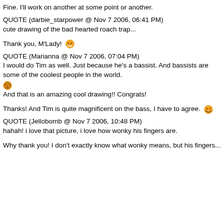Fine. I'll work on another at some point or another.
QUOTE (darbie_starpower @ Nov 7 2006, 06:41 PM)
cute drawing of the bad hearted roach trap...
Thank you, M'Lady! [laughing emoji]
QUOTE (Marianna @ Nov 7 2006, 07:04 PM)
I would do Tim as well. Just because he's a bassist. And bassists are some of the coolest people in the world.
[emoji]
And that is an amazing cool drawing!! Congrats!
Thanks! And Tim is quite magnificent on the bass, I have to agree. [grinning emoji]
QUOTE (Jellobomb @ Nov 7 2006, 10:48 PM)
hahah! i love that picture, i love how wonky his fingers are.
Why thank you! I don't exactly know what wonky means, but his fingers...